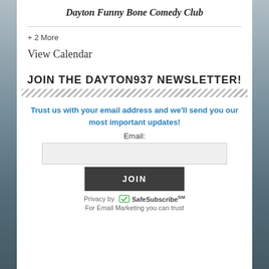Dayton Funny Bone Comedy Club
+ 2 More
View Calendar
JOIN THE DAYTON937 NEWSLETTER!
Trust us with your email address and we'll send you our most important updates!
Email:
JOIN
Privacy by SafeSubscribeSM
For Email Marketing you can trust